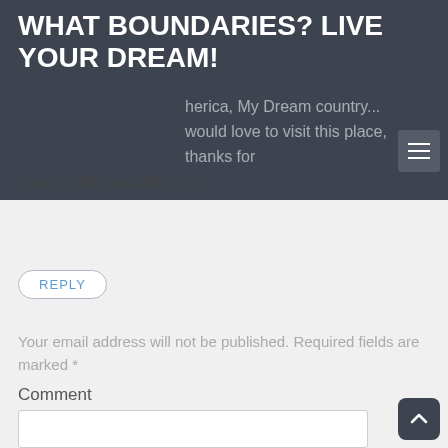WHAT BOUNDARIES? LIVE YOUR DREAM!
herica, My Dream country... would love to visit this place, thanks for sharing this beautiful post.
REPLY
Your email address will not be published. Required fields are marked *
Comment